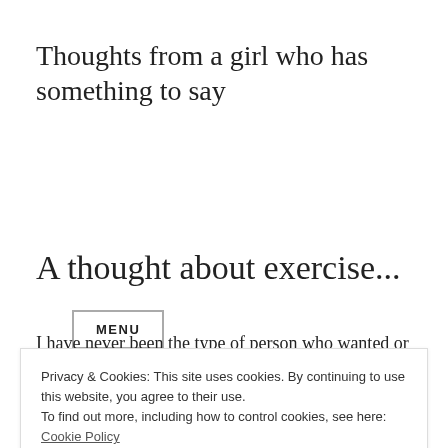Thoughts from a girl who has something to say
MENU
A thought about exercise...
I have never been the type of person who wanted or needed to
Privacy & Cookies: This site uses cookies. By continuing to use this website, you agree to their use.
To find out more, including how to control cookies, see here: Cookie Policy
Close and accept
I started working out on my own and also with a trainer once